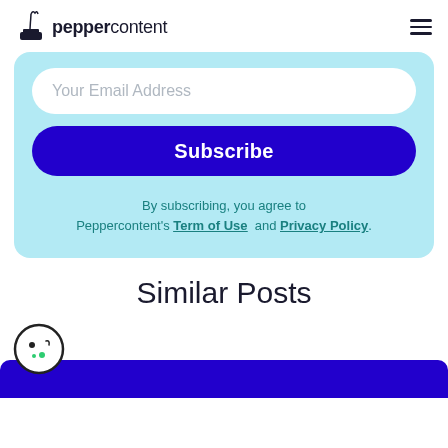peppercontent
Your Email Address
Subscribe
By subscribing, you agree to Peppercontent's Term of Use and Privacy Policy.
Similar Posts
[Figure (screenshot): Bottom blue strip with cookie consent icon]